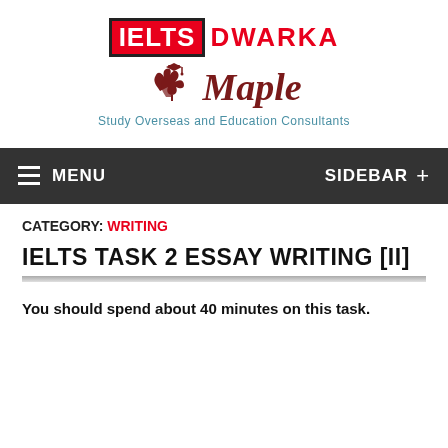[Figure (logo): IELTS Dwarka logo with red box and Maple Study Overseas and Education Consultants branding]
MENU  SIDEBAR +
CATEGORY: WRITING
IELTS TASK 2 ESSAY WRITING [II]
You should spend about 40 minutes on this task.